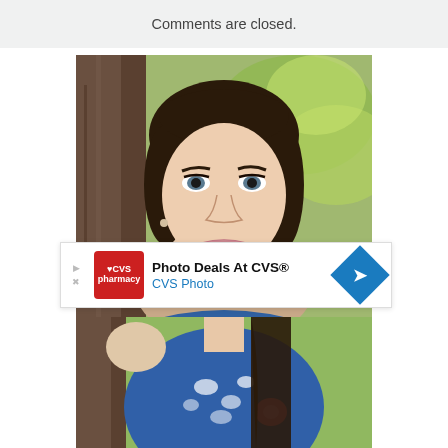Comments are closed.
[Figure (photo): Portrait photo of a young woman with dark hair, smiling, standing near a tree with green foliage background]
[Figure (photo): Advertisement banner: Photo Deals At CVS® - CVS Photo, with CVS pharmacy logo and blue navigation arrow]
[Figure (photo): Bottom portion of portrait photo showing woman in blue floral top with pink flower, outdoors]